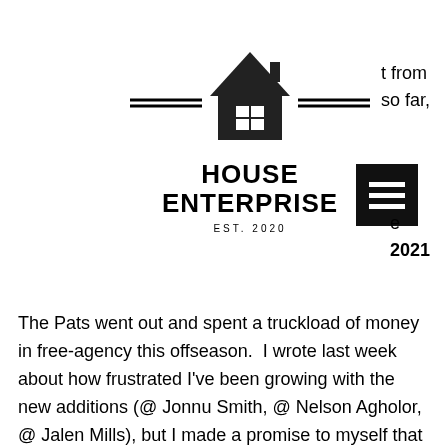[Figure (logo): House Enterprise logo with house icon, double horizontal lines, bold text HOUSE ENTERPRISE, and EST. 2020]
t from
so far,
e
2021
The Pats went out and spent a truckload of money in free-agency this offseason.  I wrote last week about how frustrated I've been growing with the new additions (@ Jonnu Smith, @ Nelson Agholor, @ Jalen Mills), but I made a promise to myself that I'll be slow to slander edge rusher Matt Judon.  I wholeheartedly believe Judon was the